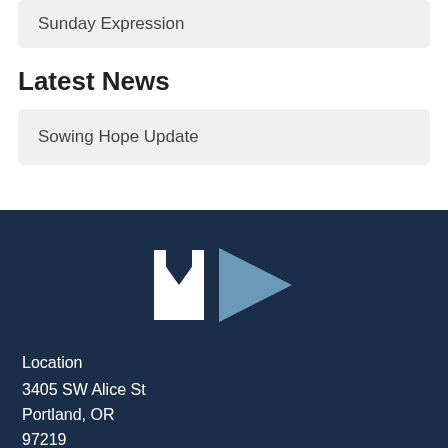Sunday Expression
Latest News
Sowing Hope Update
[Figure (logo): MD logo with white block letter M and lighter blue play-button triangle D on dark navy background]
Location
3405 SW Alice St
Portland, OR
97219
View Map